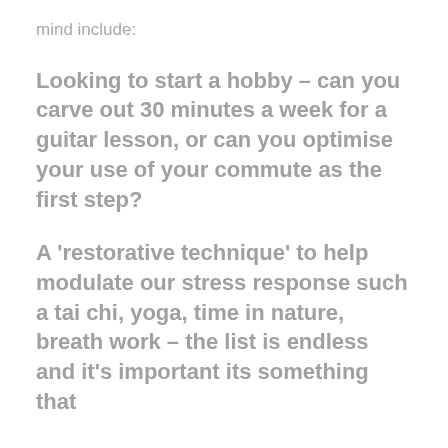mind include:
Looking to start a hobby – can you carve out 30 minutes a week for a guitar lesson, or can you optimise your use of your commute as the first step?
A 'restorative technique' to help modulate our stress response such a tai chi, yoga, time in nature, breath work – the list is endless and it's important its something that